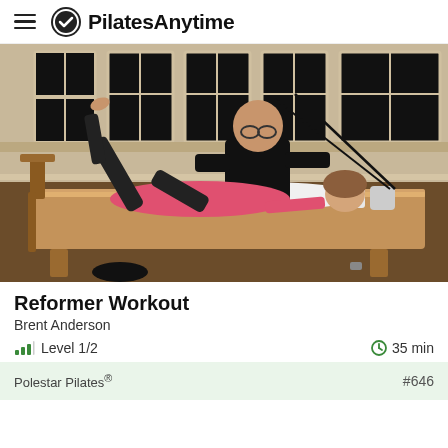PilatesAnytime
[Figure (photo): A woman in a pink top lying on a Pilates reformer machine with one leg raised, being instructed by a man in a black shirt in a studio with large windows.]
Reformer Workout
Brent Anderson
Level 1/2   35 min
Polestar Pilates®   #646